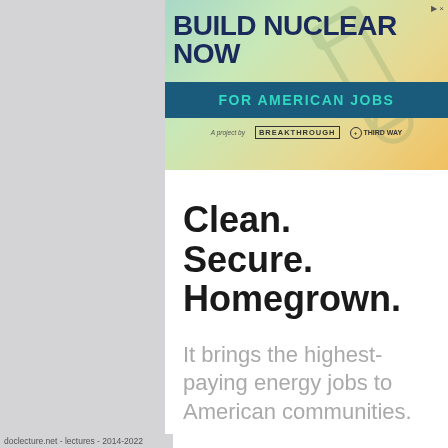[Figure (infographic): Advertisement banner for 'Build Nuclear Now' campaign. Teal-to-gold gradient background with wrench graphic. Bold dark blue text reads 'BUILD NUCLEAR NOW' with a teal ribbon banner reading 'FOR AMERICAN JOBS'. Logos for Breakthrough Institute and Third Way at the bottom. Small ad-close icon top right.]
Clean. Secure. Homegrown.
It brings the highest-paying energy jobs to American communities.
doclecture.net - lectures - 2014-2022